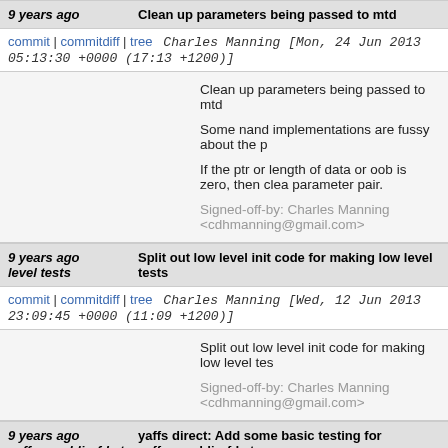9 years ago | Clean up parameters being passed to mtd
commit | commitdiff | tree   Charles Manning [Mon, 24 Jun 2013 05:13:30 +0000 (17:13 +1200)]
Clean up parameters being passed to mtd

Some nand implementations are fussy about the p

If the ptr or length of data or oob is zero, then clea parameter pair.

Signed-off-by: Charles Manning <cdhmanning@gmail.com>
9 years ago | Split out low level init code for making low level tests
commit | commitdiff | tree   Charles Manning [Wed, 12 Jun 2013 23:09:45 +0000 (11:09 +1200)]
Split out low level init code for making low level tes

Signed-off-by: Charles Manning <cdhmanning@gmail.com>
9 years ago | yaffs direct: Add some basic testing for yaffs_readdir_fd etc
commit | commitdiff | tree   Charles Manning [Mon, 13 May 2013 07:16:11 +0000 (19:16 +1200)]